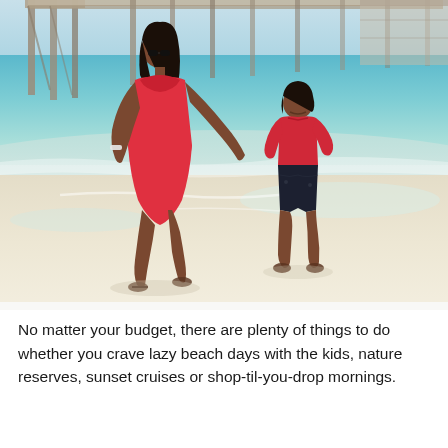[Figure (photo): A woman in a red dress and a young boy in a red long-sleeve shirt and dark shorts walk hand-in-hand on a white sandy beach near the water's edge. A long pier extends into turquoise water in the background.]
No matter your budget, there are plenty of things to do whether you crave lazy beach days with the kids, nature reserves, sunset cruises or shop-til-you-drop mornings.